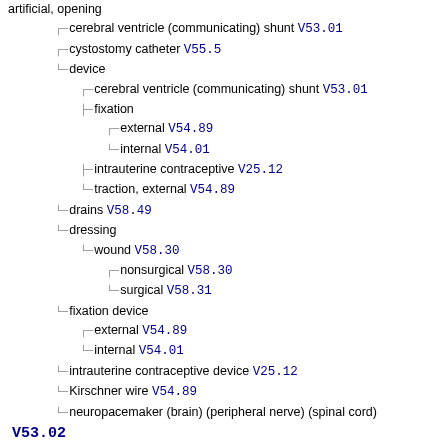artificial, opening
cerebral ventricle (communicating) shunt V53.01
cystostomy catheter V55.5
device
cerebral ventricle (communicating) shunt V53.01
fixation
external V54.89
internal V54.01
intrauterine contraceptive V25.12
traction, external V54.89
drains V58.49
dressing
wound V58.30
nonsurgical V58.30
surgical V58.31
fixation device
external V54.89
internal V54.01
intrauterine contraceptive device V25.12
Kirschner wire V54.89
neuropacemaker (brain) (peripheral nerve) (spinal cord) V53.02
nonsurgical wound dressing V58.30